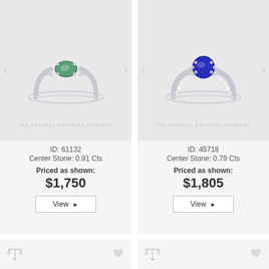[Figure (photo): Ring with green oval sapphire center stone on white gold band, watermark: THE NATURAL SAPPHIRE COMPANY]
ID: 61132
Center Stone: 0.91 Cts
Priced as shown:
$1,750
View ▶
[Figure (photo): Ring with blue round sapphire center stone on white gold band with diamond accents, watermark: THE NATURAL SAPPHIRE COMPANY]
ID: 45718
Center Stone: 0.79 Cts
Priced as shown:
$1,805
View ▶
[Figure (photo): Partial ring image at bottom left, partially visible]
[Figure (photo): Partial ring image at bottom right with purple/lavender sapphire, chat bubble overlay]